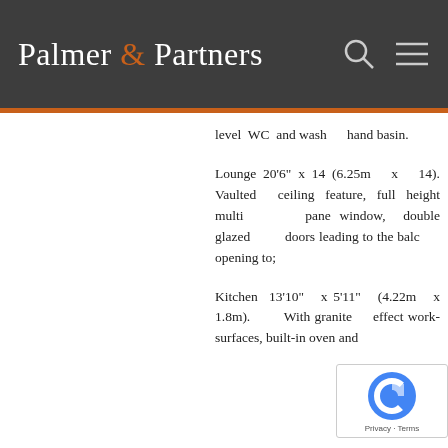Palmer & Partners
level WC and wash hand basin.
Lounge 20'6" x 14 (6.25m x 14). Vaulted ceiling feature, full height multi pane window, double glazed doors leading to the balcony opening to;
Kitchen 13'10" x 5'11" (4.22m x 1.8m). With granite effect work-surfaces, built-in oven and